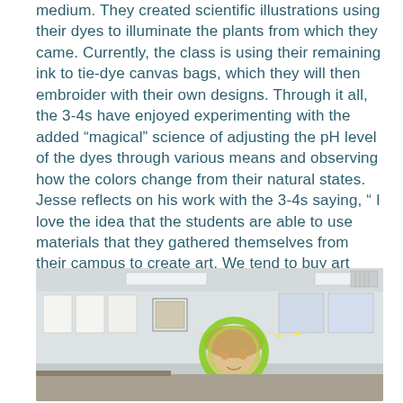medium. They created scientific illustrations using their dyes to illuminate the plants from which they came. Currently, the class is using their remaining ink to tie-dye canvas bags, which they will then embroider with their own designs. Through it all, the 3-4s have enjoyed experimenting with the added “magical” science of adjusting the pH level of the dyes through various means and observing how the colors change from their natural states.
Jesse reflects on his work with the 3-4s saying, “ I love the idea that the students are able to use materials that they gathered themselves from their campus to create art. We tend to buy art supplies rather than make them. When you are able to make something useful and beautiful from materials you’ve gathered it is just so exciting!”
[Figure (photo): A classroom scene showing a person wearing a green circular face accessory or headpiece, with classroom walls visible in the background showing papers and posters.]